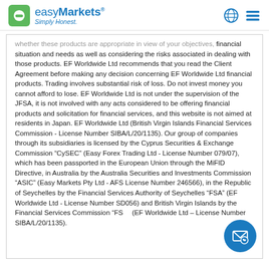easyMarkets Simply Honest.
whether these products are appropriate in view of your objectives, financial situation and needs as well as considering the risks associated in dealing with those products. EF Worldwide Ltd recommends that you read the Client Agreement before making any decision concerning EF Worldwide Ltd financial products. Trading involves substantial risk of loss. Do not invest money you cannot afford to lose. EF Worldwide Ltd is not under the supervision of the JFSA, it is not involved with any acts considered to be offering financial products and solicitation for financial services, and this website is not aimed at residents in Japan. EF Worldwide Ltd (British Virgin Islands Financial Services Commission - License Number SIBA/L/20/1135). Our group of companies through its subsidiaries is licensed by the Cyprus Securities & Exchange Commission "CySEC" (Easy Forex Trading Ltd - License Number 079/07), which has been passported in the European Union through the MiFID Directive, in Australia by the Australia Securities and Investments Commission "ASIC" (Easy Markets Pty Ltd - AFS License Number 246566), in the Republic of Seychelles by the Financial Services Authority of Seychelles "FSA" (EF Worldwide Ltd - License Number SD056) and British Virgin Islands by the Financial Services Commission "FSC" (EF Worldwide Ltd – License Number SIBA/L/20/1135).